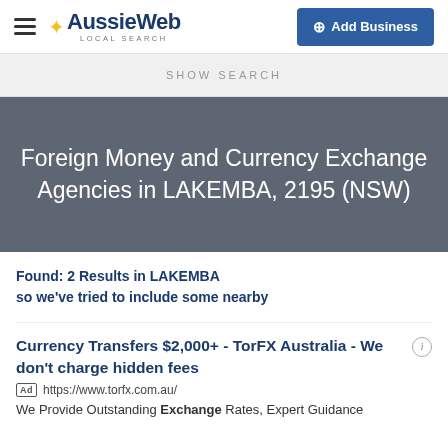AussieWeb LOCAL SEARCH | Add Business
SHOW SEARCH
Foreign Money and Currency Exchange Agencies in LAKEMBA, 2195 (NSW)
Found: 2 Results in LAKEMBA so we've tried to include some nearby
Currency Transfers $2,000+ - TorFX Australia - We don't charge hidden fees
Ad https://www.torfx.com.au/
We Provide Outstanding Exchange Rates, Expert Guidance